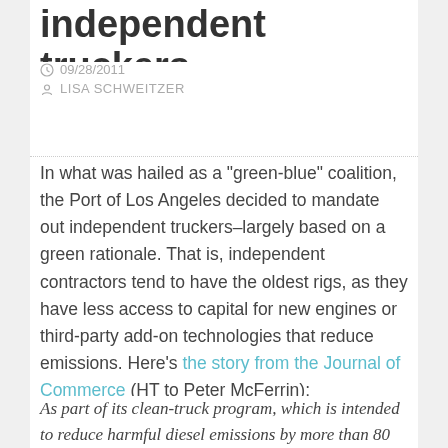independent truckers
09/28/2011
LISA SCHWEITZER
In what was hailed as a "green-blue" coalition, the Port of Los Angeles decided to mandate out independent truckers–largely based on a green rationale. That is, independent contractors tend to have the oldest rigs, as they have less access to capital for new engines or third-party add-on technologies that reduce emissions. Here's the story from the Journal of Commerce (HT to Peter McFerrin):
As part of its clean-truck program, which is intended to reduce harmful diesel emissions by more than 80 percent, Los Angeles included a requirement that